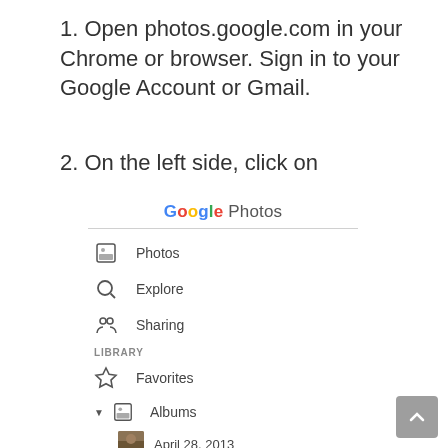1. Open photos.google.com in your Chrome or browser. Sign in to your Google Account or Gmail.
2. On the left side, click on
[Figure (screenshot): Google Photos sidebar navigation screenshot showing: Google Photos logo at top, then menu items Photos, Explore, Sharing, then LIBRARY section with Favorites, Albums (expanded showing April 28, 2013 entry), and Utilities item highlighted in blue with red border box]